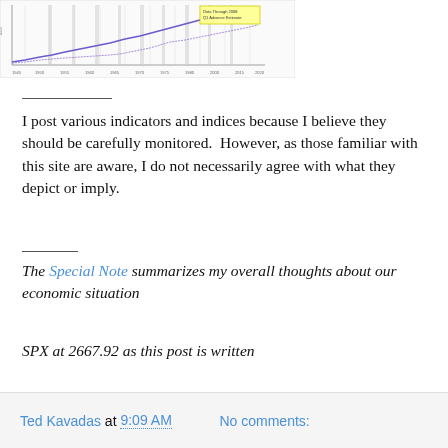[Figure (continuous-plot): A line chart showing economic indicators/indices over time from approximately 1945 to 2020, with a yellow legend box in the top right reading 'Data Through 2008 Q1 Advance Estimate'. The chart shows upward trending lines with some variation.]
I post various indicators and indices because I believe they should be carefully monitored.  However, as those familiar with this site are aware, I do not necessarily agree with what they depict or imply.
The Special Note summarizes my overall thoughts about our economic situation
SPX at 2667.92 as this post is written
Ted Kavadas at 9:09 AM   No comments: